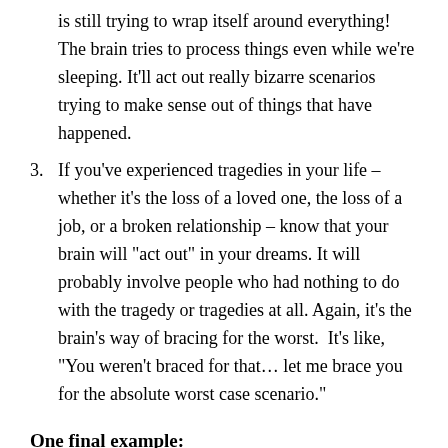is still trying to wrap itself around everything! The brain tries to process things even while we're sleeping. It'll act out really bizarre scenarios trying to make sense out of things that have happened.
3. If you've experienced tragedies in your life – whether it's the loss of a loved one, the loss of a job, or a broken relationship – know that your brain will "act out" in your dreams. It will probably involve people who had nothing to do with the tragedy or tragedies at all. Again, it's the brain's way of bracing for the worst.  It's like, "You weren't braced for that… let me brace you for the absolute worst case scenario."
One final example:
I myself, once had a nightmare involving one of my